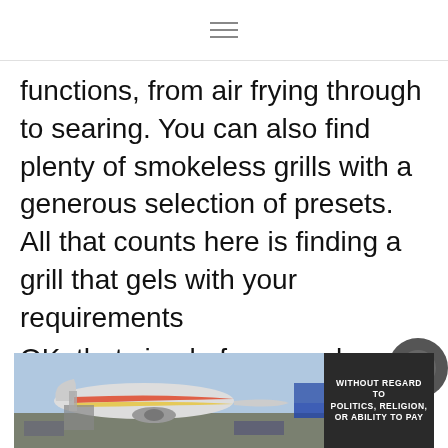≡
functions, from air frying through to searing. You can also find plenty of smokeless grills with a generous selection of presets. All that counts here is finding a grill that gels with your requirements
OK, that simple framework should be all you need to easily navigate our curated collection of the best indoor and smokeless grills you can
[Figure (photo): Advertisement banner showing an airplane being loaded with cargo, with a dark text panel reading WITHOUT REGARD TO POLITICS, RELIGION, OR ABILITY TO PAY]